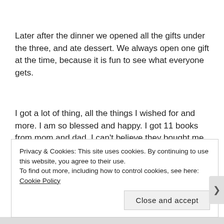Later after the dinner we opened all the gifts under the three, and ate dessert. We always open one gift at the time, because it is fun to see what everyone gets.
I got a lot of thing, all the things I wished for and more. I am so blessed and happy. I got 11 books from mom and dad. I can't believe they bought me all the books I wished for. I also got 2 sweaters, socks, hair clips, Bluetooth speakers, adult coloring book, and more . . . From my
Privacy & Cookies: This site uses cookies. By continuing to use this website, you agree to their use.
To find out more, including how to control cookies, see here: Cookie Policy
Close and accept